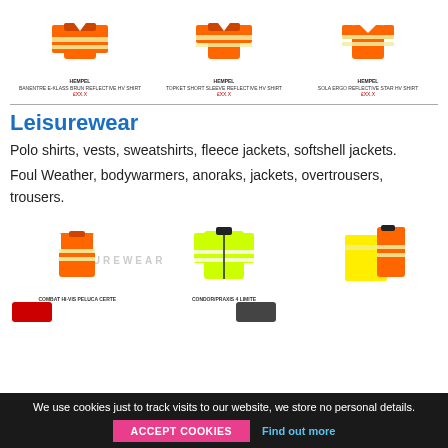[Figure (photo): Three orange hi-vis shirts/jackets shown at top of page with product captions below each]
[Figure (photo): Bottom row of leisurewear products: orange hi-vis vest, yellow hi-vis jacket, orange polo shirt, with a LEISUREWEAR watermark text and partial red/dark items at very bottom]
Leisurewear
Polo shirts, vests, sweatshirts, fleece jackets, softshell jackets.
Foul Weather, bodywarmers, anoraks, jackets, overtrousers, trousers.
We use cookies just to track visits to our website, we store no personal details. ACCEPT COOKIES Find out more